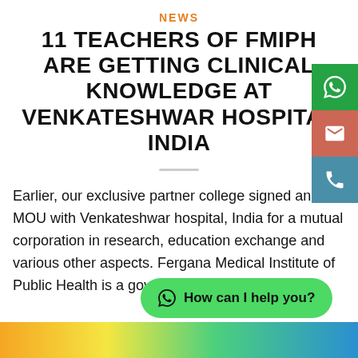NEWS
11 TEACHERS OF FMIPH ARE GETTING CLINICAL KNOWLEDGE AT VENKATESHWAR HOSPITAL INDIA
Earlier, our exclusive partner college signed an MOU with Venkateshwar hospital, India for a mutual corporation in research, education exchange and various other aspects. Fergana Medical Institute of Public Health is a gover
[Figure (other): Floating WhatsApp chat button with text 'How can I help you?']
[Figure (other): Colorful bottom image strip]